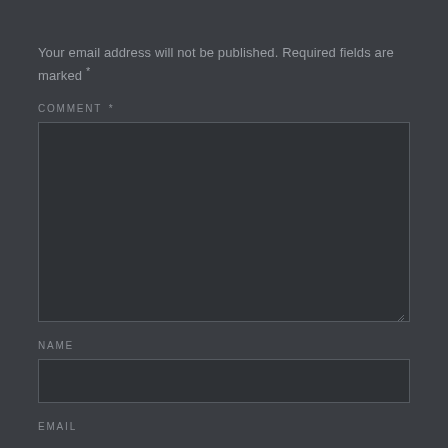Your email address will not be published. Required fields are marked *
COMMENT *
[Figure (screenshot): Comment textarea input box, dark styled, empty, with resize handle at bottom-right]
NAME
[Figure (screenshot): Name text input box, dark styled, empty]
EMAIL